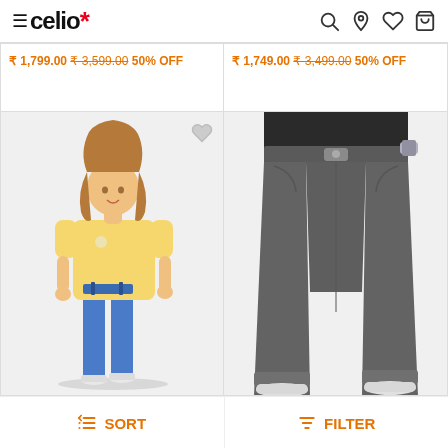≡celio* [navigation icons: search, location, wishlist, cart]
₹ 1,799.00 ₹ 3,599.00 50% OFF
₹ 1,749.00 ₹ 3,499.00 50% OFF
[Figure (photo): Male model wearing yellow t-shirt and blue jeans, white background, with wishlist heart icon]
[Figure (photo): Close-up of grey chino pants on male model, white background]
↕ SORT
≡ FILTER